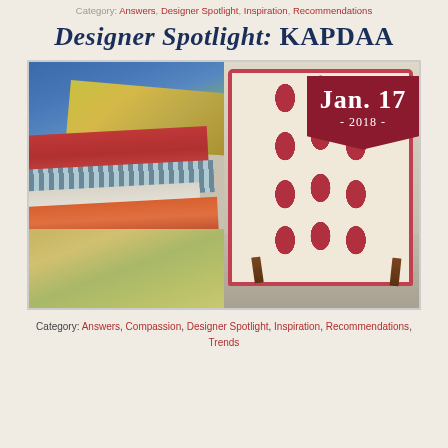Category: Answers, Designer Spotlight, Inspiration, Recommendations
Designer Spotlight: KAPDAA
[Figure (photo): Two-panel composite photo: left panel shows stacked patterned fabric swatches including blue brocade, red floral, gingham check, striped, orange, and paisley fabrics; right panel shows an upholstered wingback chair with a red and cream damask pattern fabric. A dark red date badge reads 'Jan. 17 - 2018 -' in the upper right corner.]
Category: Answers, Compassion, Designer Spotlight, Inspiration, Recommendations, Trends